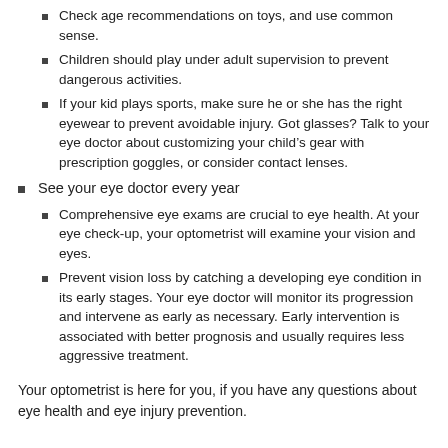Check age recommendations on toys, and use common sense.
Children should play under adult supervision to prevent dangerous activities.
If your kid plays sports, make sure he or she has the right eyewear to prevent avoidable injury. Got glasses? Talk to your eye doctor about customizing your child’s gear with prescription goggles, or consider contact lenses.
See your eye doctor every year
Comprehensive eye exams are crucial to eye health. At your eye check-up, your optometrist will examine your vision and eyes.
Prevent vision loss by catching a developing eye condition in its early stages. Your eye doctor will monitor its progression and intervene as early as necessary. Early intervention is associated with better prognosis and usually requires less aggressive treatment.
Your optometrist is here for you, if you have any questions about eye health and eye injury prevention.